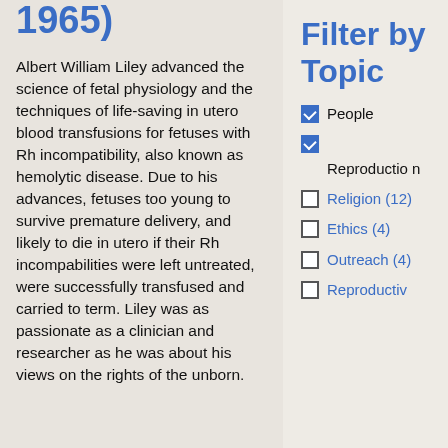1965)
Albert William Liley advanced the science of fetal physiology and the techniques of life-saving in utero blood transfusions for fetuses with Rh incompatibility, also known as hemolytic disease. Due to his advances, fetuses too young to survive premature delivery, and likely to die in utero if their Rh incompabilities were left untreated, were successfully transfused and carried to term. Liley was as passionate as a clinician and researcher as he was about his views on the rights of the unborn.
Filter by Topic
People (checked)
Reproduction (checked)
Religion (12)
Ethics (4)
Outreach (4)
Reproductiv